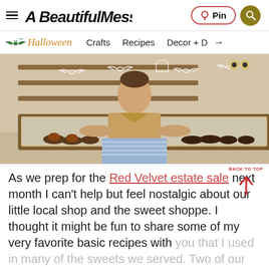A Beautiful Mess — Pin | Search
[Figure (other): Website navigation bar with Halloween bat icon, Halloween (italic orange), Crafts, Recipes, Decor + D with arrow]
[Figure (photo): A woman in a tan shirt and blue gingham apron standing behind a bakery display case with cupcakes, with hand-drawn doodles of bats and ghosts overlaid on the image]
As we prep for the Red Velvet estate sale next month I can't help but feel nostalgic about our little local shop and the sweet shoppe. I thought it might be fun to share some of my very favorite basic recipes with you that I used in many of the sweets we served. Two of our most popular...